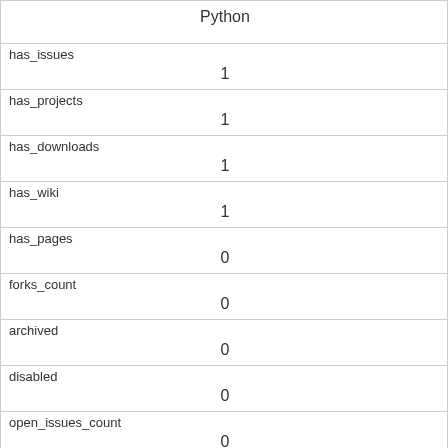| Python |
| has_issues
1 |
| has_projects
1 |
| has_downloads
1 |
| has_wiki
1 |
| has_pages
0 |
| forks_count
0 |
| archived
0 |
| disabled
0 |
| open_issues_count
0 |
| license |